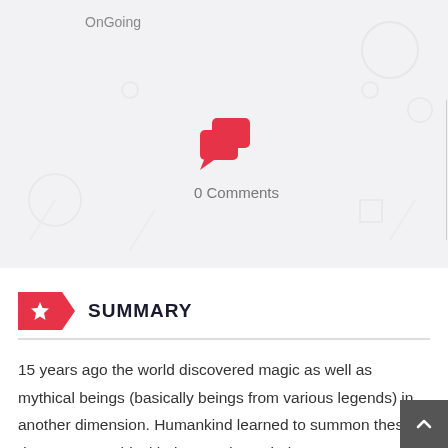OnGoing
[Figure (illustration): Red speech bubble / comment icon]
0 Comments
[Figure (illustration): Read First and Read Last red buttons]
SUMMARY
15 years ago the world discovered magic as well as mythical beings (basically beings from various legends) in another dimension. Humankind learned to summon these dangerous mythical beings and use their power to great